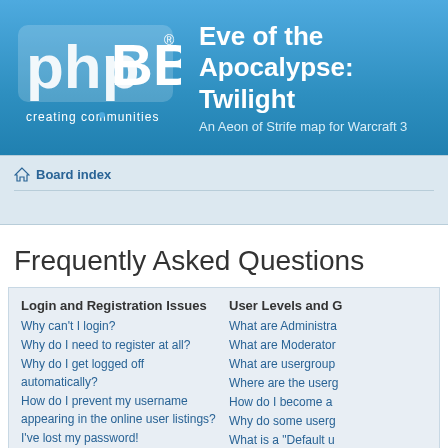[Figure (logo): phpBB logo with 'creating communities' tagline in white on blue background]
Eve of the Apocalypse: Twilight
An Aeon of Strife map for Warcraft 3
Board index
Frequently Asked Questions
Login and Registration Issues
Why can't I login?
Why do I need to register at all?
Why do I get logged off automatically?
How do I prevent my username appearing in the online user listings?
I've lost my password!
I registered but cannot login!
I registered in the past but cannot login any more?!
What is COPPA?
Why can't I register?
What does the "Delete all board cookies" do?
User Levels and G
What are Administrators
What are Moderators
What are usergroups
Where are the usergroups
How do I become a
Why do some usergroups
What is a "Default u
What is "The team"
Private Messaging
I cannot send private
I keep getting unwa